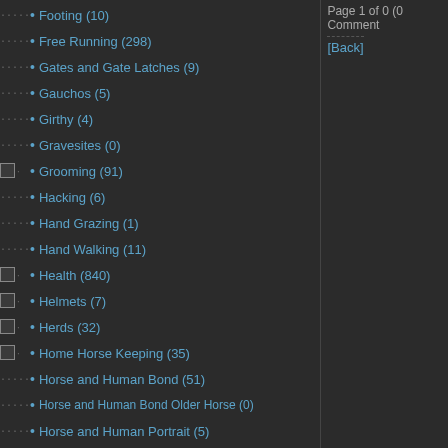Footing (10)
Free Running (298)
Gates and Gate Latches (9)
Gauchos (5)
Girthy (4)
Gravesites (0)
Grooming (91)
Hacking (6)
Hand Grazing (1)
Hand Walking (11)
Health (840)
Helmets (7)
Herds (32)
Home Horse Keeping (35)
Horse and Human Bond (51)
Horse and Human Bond Older Horse (0)
Horse and Human Portrait (5)
Horse Shopping (12)
Horse Show (233)
Hunter Jumper (135)
Instructors (33)
Judges (4)
Kentucky Horse Park (0)
Kids (328)
Leading (27)
Legs in Action (0)
Loss of a Horse (4)
Lunging (4)
Page 1 of 0 (0 Comment
[Back]